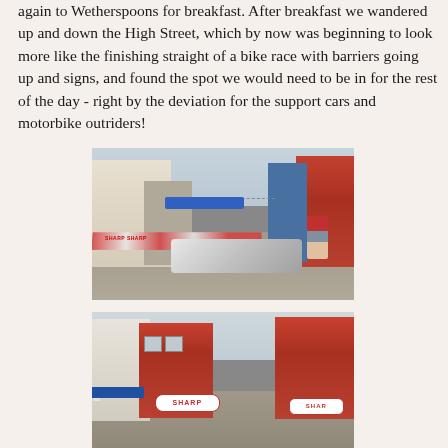again to Wetherspoons for breakfast.  After breakfast we wandered up and down the High Street, which by now was beginning to look more like the finishing straight of a bike race with barriers going up and signs, and found the spot we would need to be in for the rest of the day - right by the deviation for the support cars and motorbike outriders!
[Figure (photo): Street scene of a High Street set up for a bike race, with white barriers along the road, red and white barrier tape, bunting, a blue banner, and a person walking on the right side.]
[Figure (photo): Another view of the High Street with brick buildings, SHARP branded banners/barriers visible across the road, and overcast sky.]